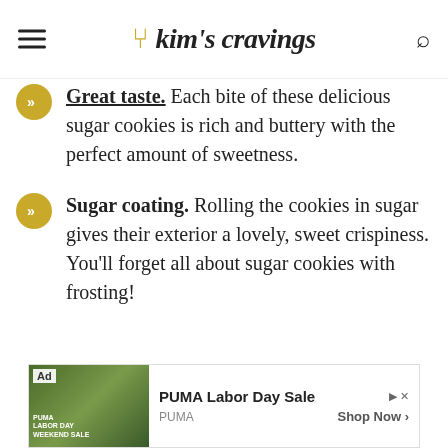Kim's Cravings
Great taste. Each bite of these delicious sugar cookies is rich and buttery with the perfect amount of sweetness.
Sugar coating. Rolling the cookies in sugar gives their exterior a lovely, sweet crispiness. You'll forget all about sugar cookies with frosting!
[Figure (screenshot): Ad banner for PUMA Labor Day Sale with a green background athletic image, Ad label, play and close buttons, PUMA brand name, and Shop Now call to action]